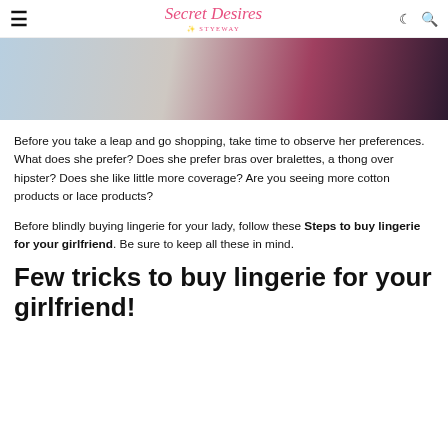Secret Desires by Styeway
[Figure (photo): Cropped photo of a couple near lingerie/clothing rack]
Before you take a leap and go shopping, take time to observe her preferences. What does she prefer? Does she prefer bras over bralettes, a thong over hipster? Does she like little more coverage? Are you seeing more cotton products or lace products?
Before blindly buying lingerie for your lady, follow these Steps to buy lingerie for your girlfriend. Be sure to keep all these in mind.
Few tricks to buy lingerie for your girlfriend!